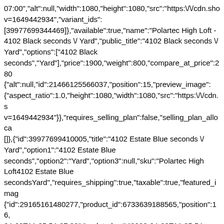07:00","alt":null,"width":1080,"height":1080,"src":"https:\/\/cdn.sho v=1649442934","variant_ids": [39977699344469]},"available":true,"name":"Polartec High Loft - 4102 Black seconds \/ Yard","public_title":"4102 Black seconds \/ Yard","options":["4102 Black seconds","Yard"],"price":1900,"weight":800,"compare_at_price":280 {"alt":null,"id":21466125566037,"position":15,"preview_image": {"aspect_ratio":1.0,"height":1080,"width":1080,"src":"https:\/\/cdn.s v=1649442934"}},"requires_selling_plan":false,"selling_plan_alloca []},{"id":39977699410005,"title":"4102 Estate Blue seconds \/ Yard","option1":"4102 Estate Blue seconds","option2":"Yard","option3":null,"sku":"Polartec High Loft4102 Estate Blue secondsYard","requires_shipping":true,"taxable":true,"featured_imag {"id":29165161480277,"product_id":6733639188565,"position":16, 04-08T11:35:54-07:00","updated_at":"2022-04-08T11:35:54- 07:00","alt":null,"width":1080,"height":1080,"src":"https:\/\/cdn.sho 2289-4a32-9900-9089d1cf2c4f.jpg?v=1649442954","variant_ids": [39977699410005]},"available":true,"name":"Polartec High Loft - 4102 Estate Blue seconds \/ Yard","public_title":"4102 Estate Blue seconds \/ Yard","options":["4102 Estate Blue seconds","Yard"],"price":1900,"weight":800,"compare_at_price":280 {"alt":null,"id":21466127499349,"position":16,"preview_image": {"aspect_ratio":1.0,"height":1080,"width":1080,"src":"https:\/\/cdn.s 2289-4a32-9900-9089d1cf2c4f.jpg?